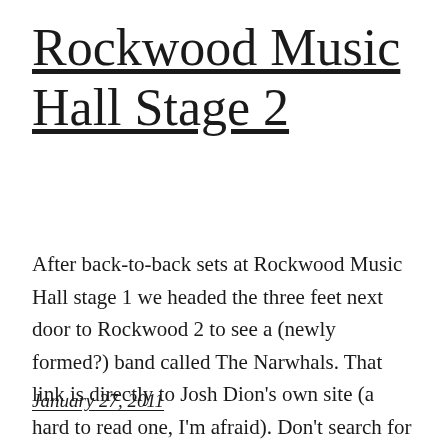Rockwood Music Hall Stage 2
After back-to-back sets at Rockwood Music Hall stage 1 we headed the three feet next door to Rockwood 2 to see a (newly formed?) band called The Narwhals. That link is directly to Josh Dion's own site (a hard to read one, I'm afraid). Don't search for a band site by that name […]
January 27, 2011